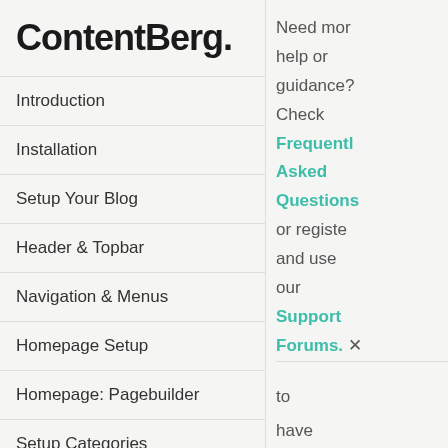ContentBerg.
Introduction
Installation
Setup Your Blog
Header & Topbar
Navigation & Menus
Homepage Setup
Homepage: Pagebuilder
Setup Categories
Adding Posts
Need more help or guidance? Check Frequently Asked Questions or register and use our Support Forums.
to have a section